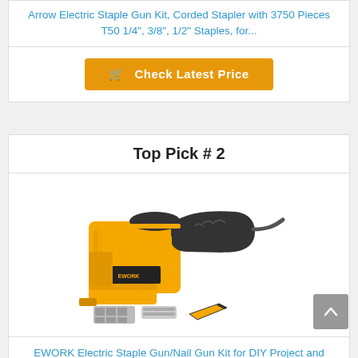Arrow Electric Staple Gun Kit, Corded Stapler with 3750 Pieces T50 1/4", 3/8", 1/2" Staples, for...
[Figure (other): Orange and black Check Latest Price button with shopping cart icon]
Top Pick # 2
[Figure (photo): Yellow and black EWORK electric staple gun/nail gun kit shown with accessories on white background]
EWORK Electric Staple Gun/Nail Gun Kit for DIY Project and Upholstery, 120V Corded Electric